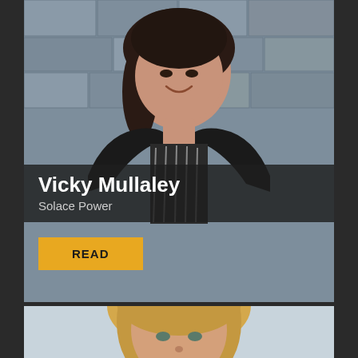[Figure (photo): Professional headshot of Vicky Mullaley against a stone wall background, wearing a black cardigan over a striped top. Dark hair, smiling.]
Vicky Mullaley
Solace Power
READ
[Figure (photo): Partial professional headshot of a blonde woman against a light grey/blue background, cropped to show head and upper shoulders.]